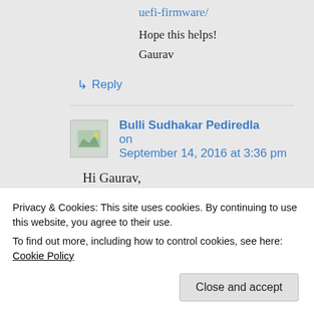uefi-firmware/
Hope this helps!
Gaurav
↳ Reply
Bulli Sudhakar Pediredla on September 14, 2016 at 3:36 pm
Hi Gaurav,
Privacy & Cookies: This site uses cookies. By continuing to use this website, you agree to their use. To find out more, including how to control cookies, see here: Cookie Policy
Close and accept